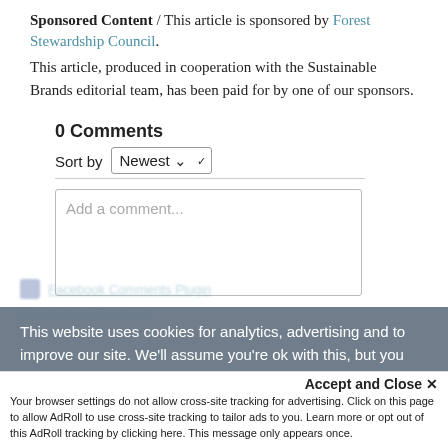Sponsored Content / This article is sponsored by Forest Stewardship Council. This article, produced in cooperation with the Sustainable Brands editorial team, has been paid for by one of our sponsors.
0 Comments
Sort by Newest
Add a comment...
This website uses cookies for analytics, advertising and to improve our site. We'll assume you're ok with this, but you
Accept and Close ✕
Your browser settings do not allow cross-site tracking for advertising. Click on this page to allow AdRoll to use cross-site tracking to tailor ads to you. Learn more or opt out of this AdRoll tracking by clicking here. This message only appears once.